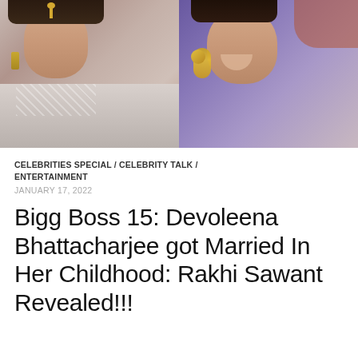[Figure (photo): Two side-by-side screenshots: left shows a woman in bridal/traditional outfit with an angry or surprised expression; right shows a woman smiling wearing large golden earrings and traditional jewelry]
CELEBRITIES SPECIAL / CELEBRITY TALK / ENTERTAINMENT
JANUARY 17, 2022
Bigg Boss 15: Devoleena Bhattacharjee got Married In Her Childhood: Rakhi Sawant Revealed!!!